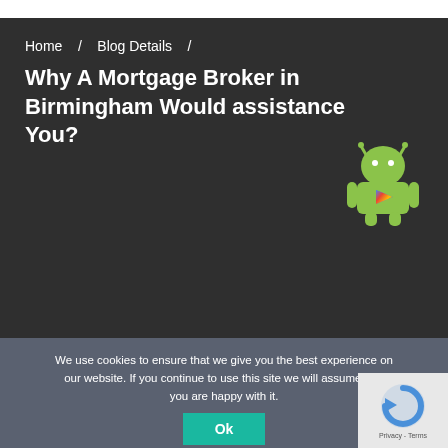Home / Blog Details /
Why A Mortgage Broker in Birmingham Would assistance You?
[Figure (illustration): Android robot mascot with Google Play logo on chest]
We use cookies to ensure that we give you the best experience on our website. If you continue to use this site we will assume that you are happy with it.
[Figure (other): reCAPTCHA widget with Privacy - Terms text]